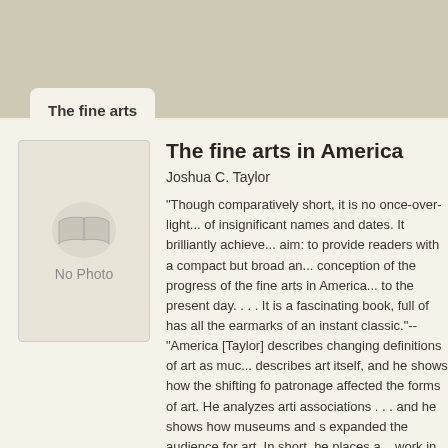The fine arts
[Figure (illustration): Book cover placeholder with open book icon and text 'No Photo']
The fine arts in America
Joshua C. Taylor
"Though comparatively short, it is no once-over-lightly parade of insignificant names and dates. It brilliantly achieves its aim: to provide readers with a compact but broad and sound conception of the progress of the fine arts in America from ... to the present day. . . . It is a fascinating book, full of ... has all the earmarks of an instant classic."--"America... [Taylor] describes changing definitions of art as much ... describes art itself, and he shows how the shifting fo... patronage affected the forms of art. He analyzes arti... associations . . . and he shows how museums and s... expanded the audience for art. In short, he places a... work in cultural context. This treatment of the social h... the most original and intriguing aspect of Taylor's ske... of American History" "This is a brilliantly subtle book. ... one insight after another, and suddenly the reader fi... whole new way of looking at American art is being p... After decades of thinking and looking and teachi...